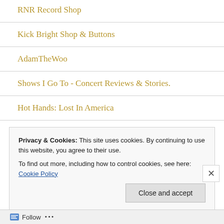RNR Record Shop
Kick Bright Shop & Buttons
AdamTheWoo
Shows I Go To - Concert Reviews & Stories.
Hot Hands: Lost In America
In Terms Of
Privacy & Cookies: This site uses cookies. By continuing to use this website, you agree to their use.
To find out more, including how to control cookies, see here: Cookie Policy
Follow ...